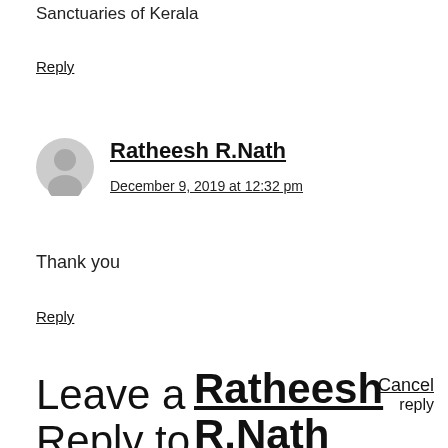Sanctuaries of Kerala
Reply
[Figure (illustration): Gray circular avatar/user profile icon]
Ratheesh R.Nath
December 9, 2019 at 12:32 pm
Thank you
Reply
Leave a Reply to
Ratheesh R.Nath
Cancel reply